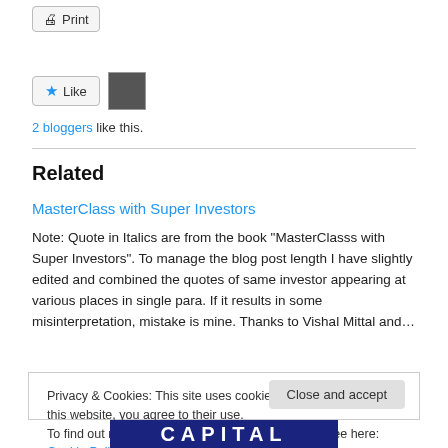Print
[Figure (illustration): Like button with star icon and a user avatar thumbnail]
2 bloggers like this.
Related
MasterClass with Super Investors
Note: Quote in Italics are from the book "MasterClasss with Super Investors". To manage the blog post length I have slightly edited and combined the quotes of same investor appearing at various places in single para. If it results in some misinterpretation, mistake is mine. Thanks to Vishal Mittal and…
Privacy & Cookies: This site uses cookies. By continuing to use this website, you agree to their use.
To find out more, including how to control cookies, see here: Cookie Policy
Close and accept
[Figure (logo): CAPITAL logo in white text on dark blue background]